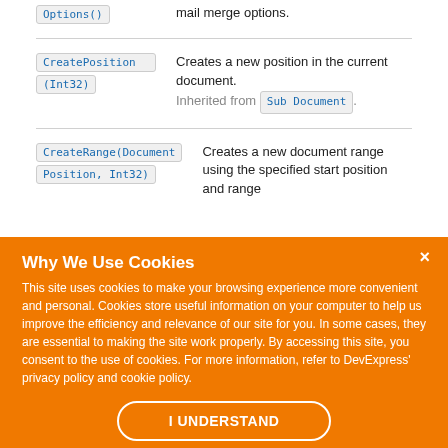Options() — mail merge options.
CreatePosition(Int32) — Creates a new position in the current document. Inherited from SubDocument.
CreateRange(DocumentPosition, Int32) — Creates a new document range using the specified start position and range.
Why We Use Cookies
This site uses cookies to make your browsing experience more convenient and personal. Cookies store useful information on your computer to help us improve the efficiency and relevance of our site for you. In some cases, they are essential to making the site work properly. By accessing this site, you consent to the use of cookies. For more information, refer to DevExpress' privacy policy and cookie policy.
I UNDERSTAND
Cut() — Removes the currently